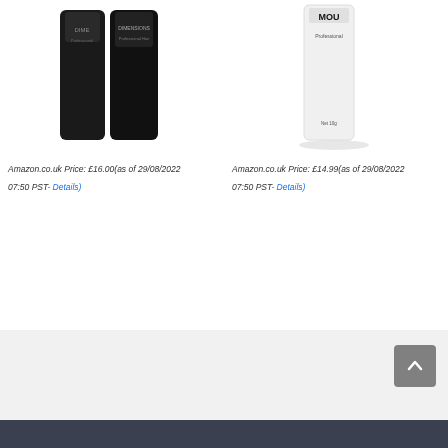[Figure (photo): Two dark product containers (hair product) - DIME/DIMENSIONS Professional Hair Color]
Amazon.co.uk Price: £16.00(as of 29/08/2022 07:50 PST- Details)
[Figure (photo): White product bottle - MOU Professional, Net 10g]
Amazon.co.uk Price: £14.99(as of 29/08/2022 07:50 PST- Details)
[Figure (logo): Instagram icon in orange]
[Figure (other): Back to top button - gray square with upward chevron]